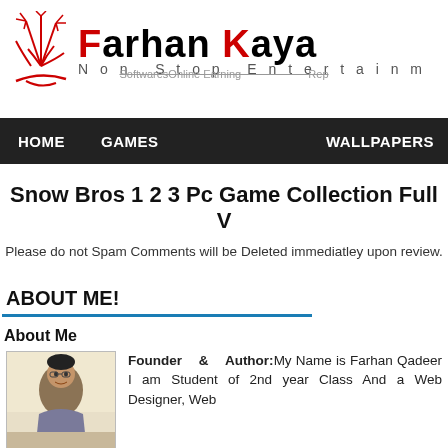Farhan Kayani – Non Stop Entertainment
Softwares Online Earning Repacks
HOME | GAMES | WALLPAPERS
Snow Bros 1 2 3 Pc Game Collection Full V
Please do not Spam Comments will be Deleted immediatley upon review.
ABOUT ME!
About Me
Founder & Author: My Name is Farhan Qadeer I am Student of 2nd year Class And a Web Designer, Web